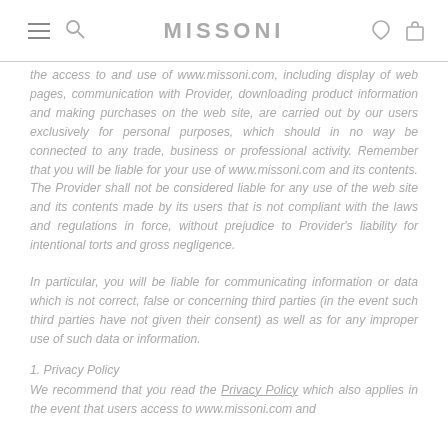MISSONI
the access to and use of www.missoni.com, including display of web pages, communication with Provider, downloading product information and making purchases on the web site, are carried out by our users exclusively for personal purposes, which should in no way be connected to any trade, business or professional activity. Remember that you will be liable for your use of www.missoni.com and its contents. The Provider shall not be considered liable for any use of the web site and its contents made by its users that is not compliant with the laws and regulations in force, without prejudice to Provider's liability for intentional torts and gross negligence.
In particular, you will be liable for communicating information or data which is not correct, false or concerning third parties (in the event such third parties have not given their consent) as well as for any improper use of such data or information.
1. Privacy Policy
We recommend that you read the Privacy Policy which also applies in the event that users access to www.missoni.com and